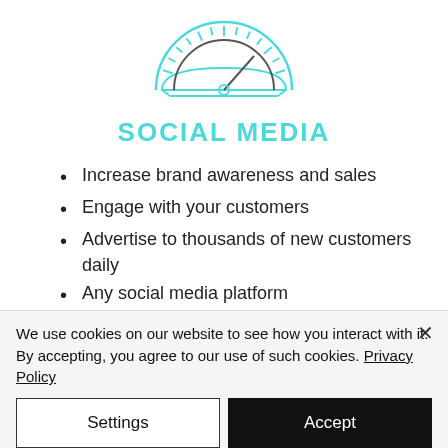[Figure (other): Speedometer / gauge icon drawn in teal/cyan outline, needle pointing slightly right of center]
SOCIAL MEDIA
Increase brand awareness and sales
Engage with your customers
Advertise to thousands of new customers daily
Any social media platform
Comprehensive strategy for any kind of business
We use cookies on our website to see how you interact with it. By accepting, you agree to our use of such cookies. Privacy Policy